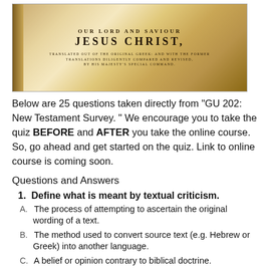[Figure (photo): Open Bible showing title page with text 'OUR LORD AND SAVIOUR JESUS CHRIST' in ornate typography]
Below are 25 questions taken directly from "GU 202: New Testament Survey. " We encourage you to take the quiz BEFORE and AFTER you take the online course. So, go ahead and get started on the quiz. Link to online course is coming soon.
Questions and Answers
1. Define what is meant by textual criticism.
A. The process of attempting to ascertain the original wording of a text.
B. The method used to convert source text (e.g. Hebrew or Greek) into another language.
C. A belief or opinion contrary to biblical doctrine.
D. The abandonment of Christianity for unbelief.